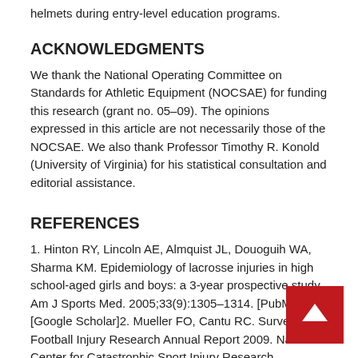helmets during entry-level education programs.
ACKNOWLEDGMENTS
We thank the National Operating Committee on Standards for Athletic Equipment (NOCSAE) for funding this research (grant no. 05–09). The opinions expressed in this article are not necessarily those of the NOCSAE. We also thank Professor Timothy R. Konold (University of Virginia) for his statistical consultation and editorial assistance.
REFERENCES
1. Hinton RY, Lincoln AE, Almquist JL, Douoguih WA, Sharma KM. Epidemiology of lacrosse injuries in high school-aged girls and boys: a 3-year prospective study. Am J Sports Med. 2005;33(9):1305–1314. [PubMed] [Google Scholar]2. Mueller FO, Cantu RC. Survey of Football Injury Research Annual Report 2009. National Center for Catastrophic Sport Injury Research. http://www.unc.edu/depts/nccsi/. Accessed September 12, 2008.3. Banerjee R, Palumbo MA, Fadale PD. Catastrophic cervical spine injuries in the collision sport athlete,